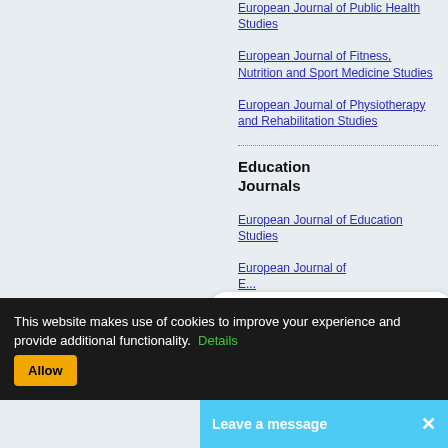European Journal of Public Health Studies
European Journal of Fitness, Nutrition and Sport Medicine Studies
European Journal of Physiotherapy and Rehabilitation Studies
Education Journals
European Journal of Education Studies
Questions? Click here to contact us.
This website makes use of cookies to improve your experience and provide additional functionality. Details
Leave a message